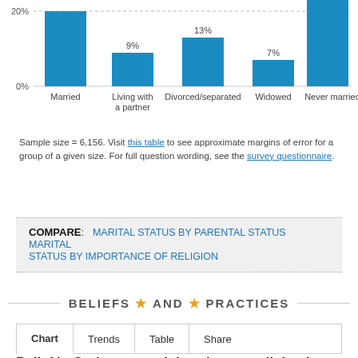[Figure (bar-chart): Marital status bar chart (partial view)]
Sample size = 6,156. Visit this table to see approximate margins of error for a group of a given size. For full question wording, see the survey questionnaire.
COMPARE: MARITAL STATUS BY PARENTAL STATUS   MARITAL STATUS BY IMPORTANCE OF RELIGION
BELIEFS AND PRACTICES
Chart   Trends   Table   Share
Belief in God among adults who say religion is